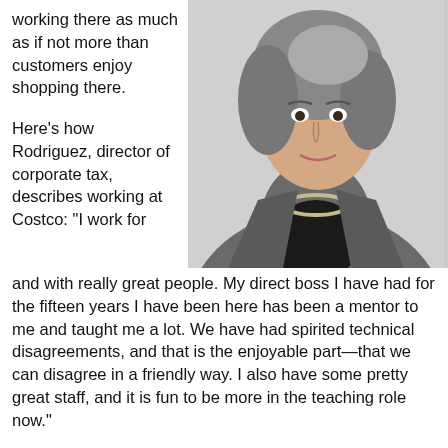working there as much as if not more than customers enjoy shopping there.
Here's how Rodriguez, director of corporate tax, describes working at Costco: “I work for and with really great people. My direct boss I have had for the fifteen years I have been here has been a mentor to me and taught me a lot. We have had spirited technical disagreements, and that is the enjoyable part—that we can disagree in a friendly way. I also have some pretty great staff, and it is fun to be more in the teaching role now.”
[Figure (photo): Professional headshot of a woman with gray-streaked hair wearing a gray blazer over a black top and a pearl necklace, smiling slightly against a light gray background.]
In addition, Rodriguez notes, she has had the opportunity to work in all areas of income tax—starting in international tax and then moving to the domestic side and now having responsibility for all of